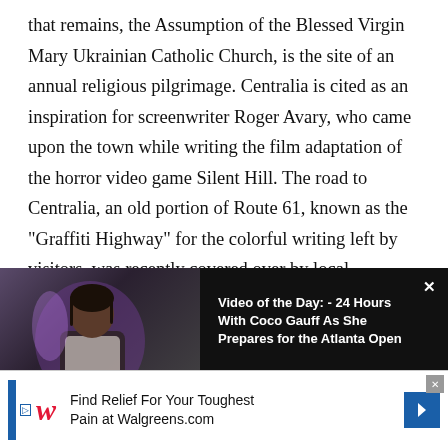that remains, the Assumption of the Blessed Virgin Mary Ukrainian Catholic Church, is the site of an annual religious pilgrimage. Centralia is cited as an inspiration for screenwriter Roger Avary, who came upon the town while writing the film adaptation of the horror video game Silent Hill. The road to Centralia, an old portion of Route 61, known as the "Graffiti Highway" for the colorful writing left by visitors, was recently covered over by local authorities to deter visitors during the pandemic.
[Figure (screenshot): Video player banner with thumbnail of a person (Coco Gauff) and text overlay. Title: 'Video of the Day: - 24 Hours With Coco Gauff As She Prepares for the Atlanta Open'. Close button (×) in top right.]
[Figure (infographic): Advertisement banner for Walgreens: 'Find Relief For Your Toughest Pain at Walgreens.com' with Walgreens logo and blue arrow icon. Ad disclosure icons visible.]